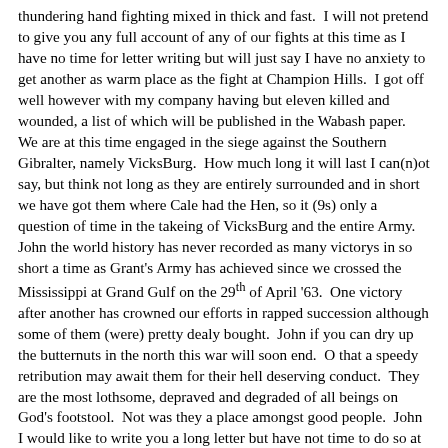thundering hand fighting mixed in thick and fast.  I will not pretend to give you any full account of any of our fights at this time as I have no time for letter writing but will just say I have no anxiety to get another as warm place as the fight at Champion Hills.  I got off well however with my company having but eleven killed and wounded, a list of which will be published in the Wabash paper.  We are at this time engaged in the siege against the Southern Gibralter, namely VicksBurg.  How much long it will last I can(n)ot say, but think not long as they are entirely surrounded and in short we have got them where Cale had the Hen, so it (9s) only a question of time in the takeing of VicksBurg and the entire Army.  John the world history has never recorded as many victorys in so short a time as Grant's Army has achieved since we crossed the Mississippi at Grand Gulf on the 29th of April '63.  One victory after another has crowned our efforts in rapped succession although some of them (were) pretty dealy bought.  John if you can dry up the butternuts in the north this war will soon end.  O that a speedy retribution may await them for their hell deserving conduct.  They are the most lothsome, depraved and degraded of all beings on God's footstool.  Not was they a place amongst good people.  John I would like to write you a long letter but have not time to do so at present.  I will say however I have not received the letter you spoke of in Ed's letter nor did Ed get his.  Ed receives his Wabash paper as regular as any of us.  Our mail was very uncertain, for a while.  We are getting mail matter more regular at